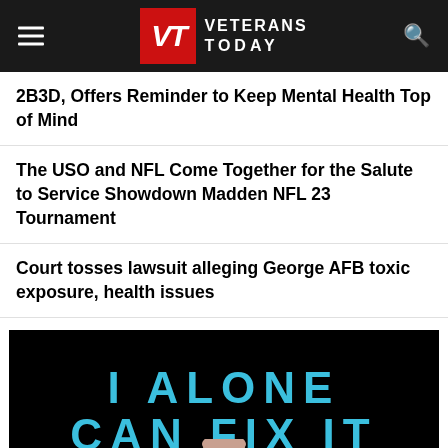Veterans Today
2B3D, Offers Reminder to Keep Mental Health Top of Mind
The USO and NFL Come Together for the Salute to Service Showdown Madden NFL 23 Tournament
Court tosses lawsuit alleging George AFB toxic exposure, health issues
[Figure (photo): Book cover showing 'I ALONE CAN FIX IT' text in blue on black background with a person's head visible at the bottom]